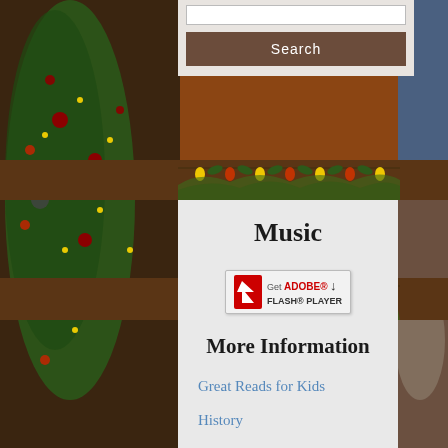[Figure (screenshot): Christmas decorated background with tree, lights, ornaments and fireplace scene]
Search
Music
[Figure (other): Get Adobe Flash Player badge/button]
More Information
Great Reads for Kids
History